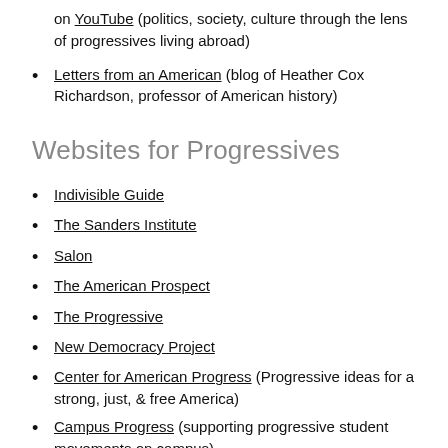on YouTube (politics, society, culture through the lens of progressives living abroad)
Letters from an American (blog of Heather Cox Richardson, professor of American history)
Websites for Progressives
Indivisible Guide
The Sanders Institute
Salon
The American Prospect
The Progressive
New Democracy Project
Center for American Progress (Progressive ideas for a strong, just, & free America)
Campus Progress (supporting progressive student movements on campus)